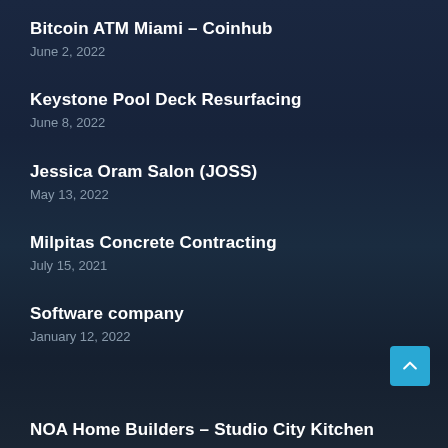Bitcoin ATM Miami – Coinhub
June 2, 2022
Keystone Pool Deck Resurfacing
June 8, 2022
Jessica Oram Salon (JOSS)
May 13, 2022
Milpitas Concrete Contracting
July 15, 2021
Software company
January 12, 2022
NOA Home Builders – Studio City Kitchen